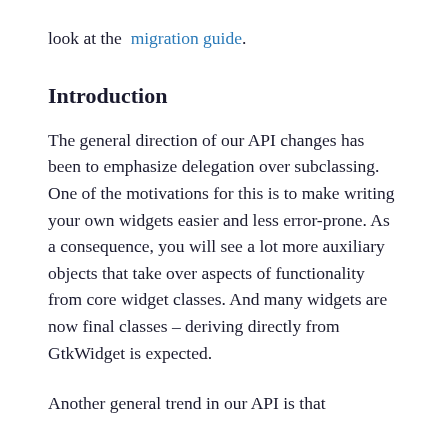look at the migration guide.
Introduction
The general direction of our API changes has been to emphasize delegation over subclassing. One of the motivations for this is to make writing your own widgets easier and less error-prone. As a consequence, you will see a lot more auxiliary objects that take over aspects of functionality from core widget classes. And many widgets are now final classes – deriving directly from GtkWidget is expected.
Another general trend in our API is that